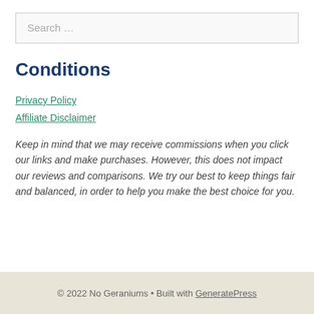Search …
Conditions
Privacy Policy
Affiliate Disclaimer
Keep in mind that we may receive commissions when you click our links and make purchases. However, this does not impact our reviews and comparisons. We try our best to keep things fair and balanced, in order to help you make the best choice for you.
© 2022 No Geraniums • Built with GeneratePress